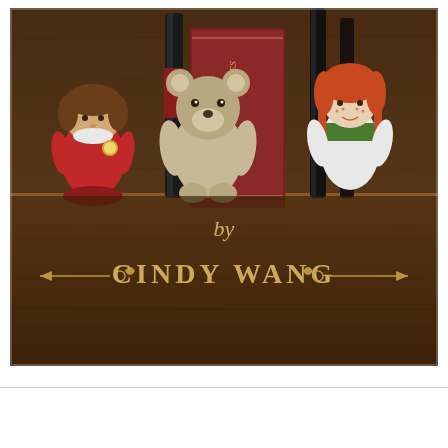[Figure (photo): A photograph showing crocheted amigurumi dolls (including a figure in red with a pocket watch, a grey/tan figure, and a red-haired figure in white/green outfit) arranged on a wooden surface with books including 'Anne of Green Gables' and dark bottles/pens. The lower portion of the image shows the text 'by CINDY WANG' with decorative arrow/flourish elements in gold/cream lettering on a dark wooden background.]